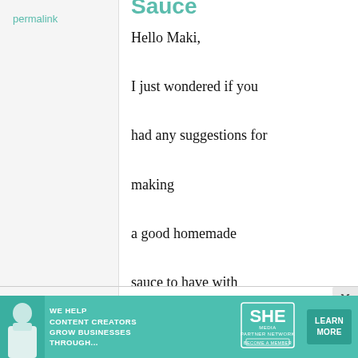Sauce
permalink
Hello Maki,

I just wondered if you had any suggestions for making a good homemade sauce to have with Takoyaki. I hope I'm not asking something that you've already answered!

-Charlie
[Figure (other): Advertisement banner: WE HELP CONTENT CREATORS GROW BUSINESSES THROUGH... SHE PARTNER NETWORK BECOME A MEMBER. LEARN MORE button. Woman with laptop photo.]